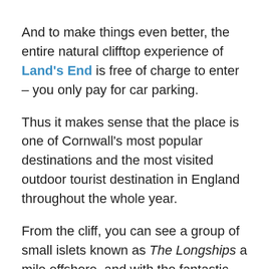And to make things even better, the entire natural clifftop experience of Land's End is free of charge to enter – you only pay for car parking.
Thus it makes sense that the place is one of Cornwall's most popular destinations and the most visited outdoor tourist destination in England throughout the whole year.
From the cliff, you can see a group of small islets known as The Longships a mile offshore, and with the fantastic views of the Atlantic Ocean, sometimes you can spot sharks, seals and dolphins.